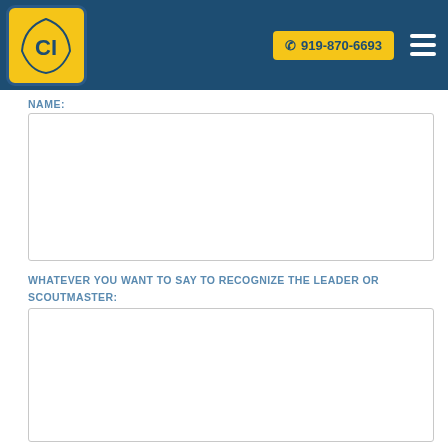CI logo header with phone number 919-870-6693
NAME:
WHATEVER YOU WANT TO SAY TO RECOGNIZE THE LEADER OR SCOUTMASTER: